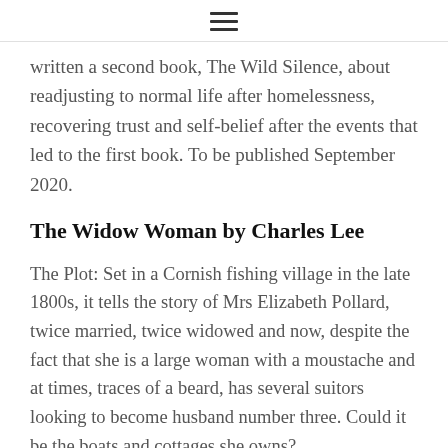≡
written a second book, The Wild Silence, about readjusting to normal life after homelessness, recovering trust and self-belief after the events that led to the first book. To be published September 2020.
The Widow Woman by Charles Lee
The Plot: Set in a Cornish fishing village in the late 1800s, it tells the story of Mrs Elizabeth Pollard, twice married, twice widowed and now, despite the fact that she is a large woman with a moustache and at times, traces of a beard, has several suitors looking to become husband number three. Could it be the boats and cottages she owns?
The Author: A Londoner by birth, Lee moved to